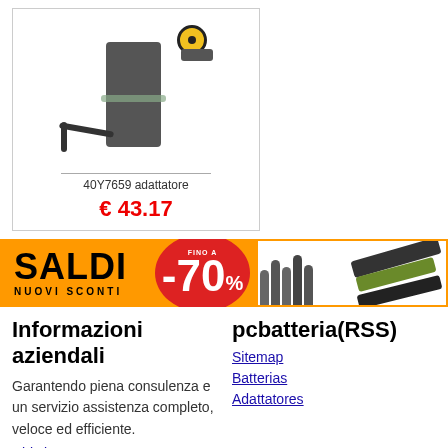[Figure (photo): Product image of a laptop power adapter (40Y7659) with cable and yellow connector ring]
40Y7659 adattatore
€ 43.17
[Figure (infographic): Orange sale banner reading SALDI NUOVI SCONTI with -70% discount circle in red and laptop batteries photo on right]
Informazioni aziendali
Garantendo piena consulenza e un servizio assistenza completo, veloce ed efficiente.
Chi siamo »
pcbatteria(RSS)
Sitemap
Batterias
Adattatores
Guida & supporto
1 anni di garanzia , 30 giorni
Resources
Email: info@pcbatteria.it